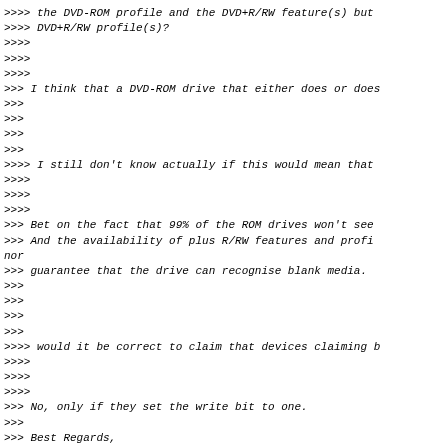>>>> the DVD-ROM profile and the DVD+R/RW feature(s) but
>>>> DVD+R/RW profile(s)?
>>>>
>>>>
>>>>
>>> I think that a DVD-ROM drive that either does or does
>>>
>>>
>>>
>>>
>>>> I still don't know actually if this would mean that
>>>>
>>>>
>>>>
>>> Bet on the fact that 99% of the ROM drives won't see
>>> And the availability of plus R/RW features and profi
nor
>>> guarantee that the drive can recognise blank media.
>>>
>>>
>>>
>>>
>>>> would it be correct to claim that devices claiming b
>>>>
>>>>
>>>>
>>> No, only if they set the write bit to one.
>>>
>>> Best Regards,
>>> Peter